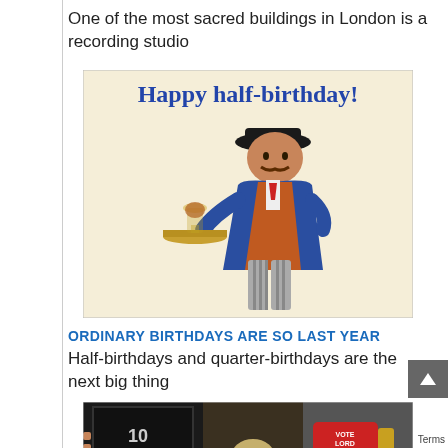One of the most sacred buildings in London is a recording studio
[Figure (illustration): Vintage illustration of a mustachioed man in a bowler hat and blue suit holding a goblet of beer on a tray, with 'Happy half-birthday!' text at the top in blue serif font on a cream background.]
ORDINARY BIRTHDAYS ARE SO LAST YEAR
Half-birthdays and quarter-birthdays are the next big thing
[Figure (photo): Photo showing what appears to be a scene at 10 Downing Street with text 'VOTE LORD SUTCH' visible on a red item.]